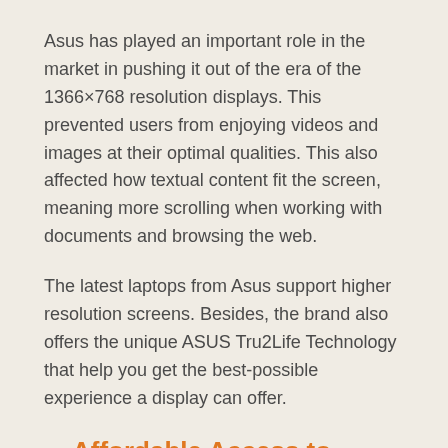Asus has played an important role in the market in pushing it out of the era of the 1366×768 resolution displays. This prevented users from enjoying videos and images at their optimal qualities. This also affected how textual content fit the screen, meaning more scrolling when working with documents and browsing the web.
The latest laptops from Asus support higher resolution screens. Besides, the brand also offers the unique ASUS Tru2Life Technology that help you get the best-possible experience a display can offer.
Affordable Access to Advanced Technologies
Another advantage of choosing notebooks from this brand is that it provides access to the most advanced technologies in the industry at affordable prices. Thus